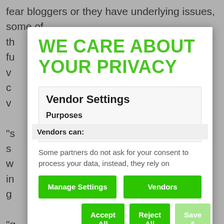fear bloggers or they have underlying issues, some of th... fu... v... c... v... "s... a s... w... in... g... "g... tr... c... c... "Some follow me with pseudo accounts, later forget
WE CARE ABOUT YOUR PRIVACY
Vendor Settings
Purposes
Vendors can:
Some partners do not ask for your consent to process your data, instead, they rely on
Manage Settings
Vendors
Accept All
Reject All
Save & Exit